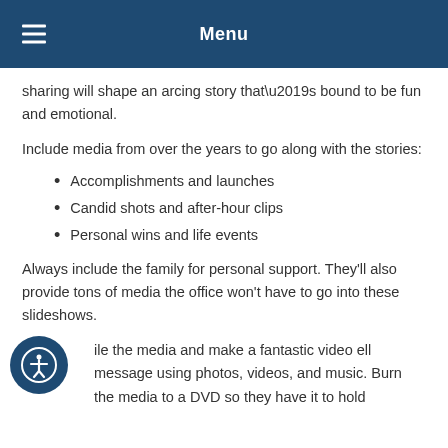Menu
sharing will shape an arcing story that’s bound to be fun and emotional.
Include media from over the years to go along with the stories:
Accomplishments and launches
Candid shots and after-hour clips
Personal wins and life events
Always include the family for personal support. They’ll also provide tons of media the office won’t have to go into these slideshows.
...pile the media and make a fantastic video ...ell message using photos, videos, and music. Burn the media to a DVD so they have it to hold